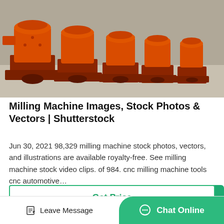[Figure (photo): Multiple orange industrial milling machines (cone/roller mill type) with red bases arranged in a row outdoors on a concrete surface.]
Milling Machine Images, Stock Photos & Vectors | Shutterstock
Jun 30, 2021 98,329 milling machine stock photos, vectors, and illustrations are available royalty-free. See milling machine stock video clips. of 984. cnc milling machine tools cnc automotive…
Get Price
Leave Message
Chat Online